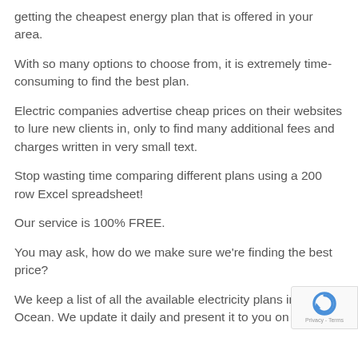getting the cheapest energy plan that is offered in your area.
With so many options to choose from, it is extremely time-consuming to find the best plan.
Electric companies advertise cheap prices on their websites to lure new clients in, only to find many additional fees and charges written in very small text.
Stop wasting time comparing different plans using a 200 row Excel spreadsheet!
Our service is 100% FREE.
You may ask, how do we make sure we're finding the best price?
We keep a list of all the available electricity plans in Qld Ocean. We update it daily and present it to you on our